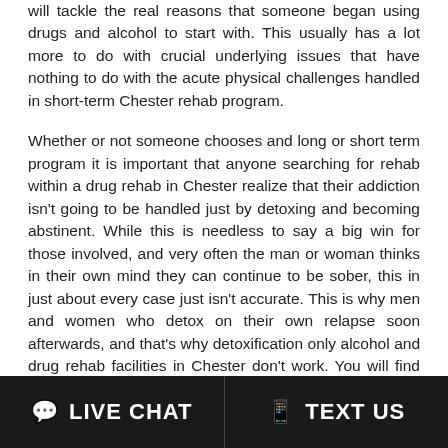will tackle the real reasons that someone began using drugs and alcohol to start with. This usually has a lot more to do with crucial underlying issues that have nothing to do with the acute physical challenges handled in short-term Chester rehab program.
Whether or not someone chooses and long or short term program it is important that anyone searching for rehab within a drug rehab in Chester realize that their addiction isn't going to be handled just by detoxing and becoming abstinent. While this is needless to say a big win for those involved, and very often the man or woman thinks in their own mind they can continue to be sober, this in just about every case just isn't accurate. This is why men and women who detox on their own relapse soon afterwards, and that's why detoxification only alcohol and drug rehab facilities in Chester don't work. You will find facilities in Chester whose only objective is to deliver detoxification solutions, and even though this can be very helpful and useful regarding short term benefits and objectives, people that obtain
LIVE CHAT   TEXT US